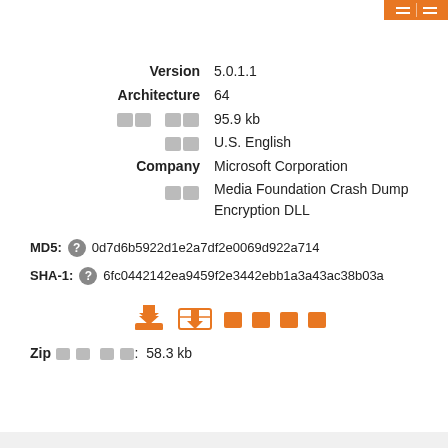Version  5.0.1.1
Architecture  64
[파일 크기]  95.9 kb
[언어]  U.S. English
Company  Microsoft Corporation
[설명]  Media Foundation Crash Dump Encryption DLL
MD5:  0d7d6b5922d1e2a7df2e0069d922a714
SHA-1:  6fc0442142ea9459f2e3442ebb1a3a43ac38b03a
Zip 파일 크기:  58.3 kb